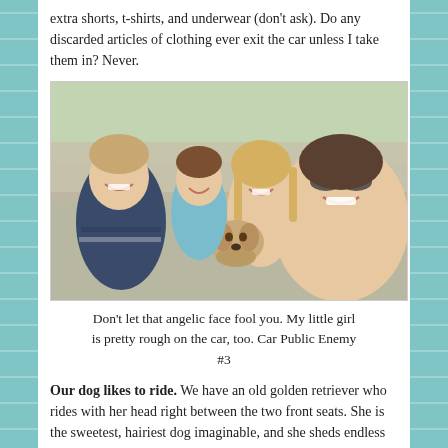extra shorts, t-shirts, and underwear (don't ask). Do any discarded articles of clothing ever exit the car unless I take them in? Never.
[Figure (photo): Family selfie photo inside a car: woman with sunglasses in foreground, two boys and a girl in back seat, golden retriever dog between them.]
Don't let that angelic face fool you. My little girl is pretty rough on the car, too. Car Public Enemy #3
Our dog likes to ride. We have an old golden retriever who rides with her head right between the two front seats. She is the sweetest, hairiest dog imaginable, and she sheds endless blonde fur all over the carpet. She does drool but makes up for it in eating dropped food from the